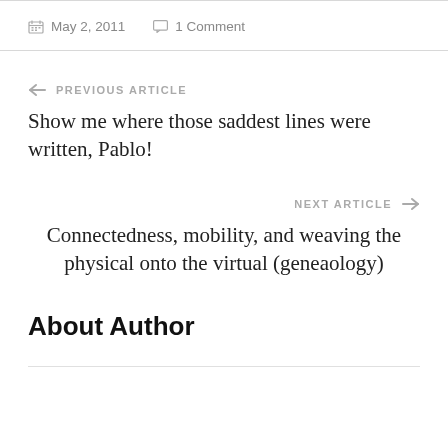May 2, 2011   1 Comment
← PREVIOUS ARTICLE
Show me where those saddest lines were written, Pablo!
NEXT ARTICLE →
Connectedness, mobility, and weaving the physical onto the virtual (geneaology)
About Author